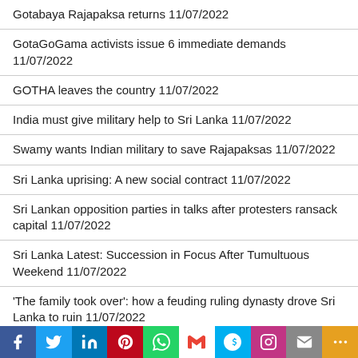Gotabaya Rajapaksa returns 11/07/2022
GotaGoGama activists issue 6 immediate demands 11/07/2022
GOTHA leaves the country 11/07/2022
India must give military help to Sri Lanka 11/07/2022
Swamy wants Indian military to save Rajapaksas 11/07/2022
Sri Lanka uprising: A new social contract 11/07/2022
Sri Lankan opposition parties in talks after protesters ransack capital 11/07/2022
Sri Lanka Latest: Succession in Focus After Tumultuous Weekend 11/07/2022
'The family took over': how a feuding ruling dynasty drove Sri Lanka to ruin 11/07/2022